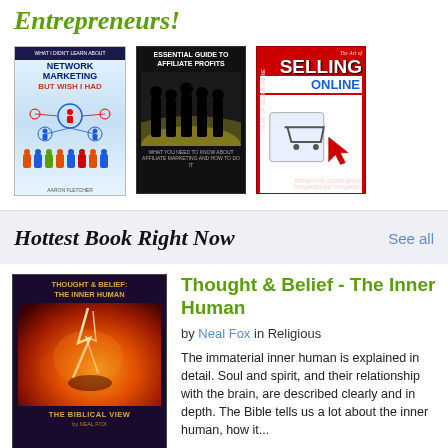Entrepreneurs!
[Figure (photo): Three book covers: 'What I Didn't Learn About Network Marketing But Wish I Had' by Aaron Fletcher, 'Essential Guide to Affiliate Profits', and 'The Art of Selling Online']
Hottest Book Right Now
See all
[Figure (photo): Book cover: Thought & Belief - The Inner Human, The Biblical View by Neal Fox. Dark cover with lightning/fire imagery and gold text.]
Thought & Belief - The Inner Human
by Neal Fox in Religious
The immaterial inner human is explained in detail. Soul and spirit, and their relationship with the brain, are described clearly and in depth. The Bible tells us a lot about the inner human, how it...